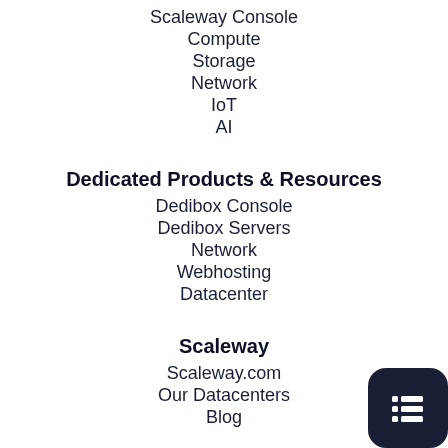Scaleway Console
Compute
Storage
Network
IoT
AI
Dedicated Products & Resources
Dedibox Console
Dedibox Servers
Network
Webhosting
Datacenter
Scaleway
Scaleway.com
Our Datacenters
Blog